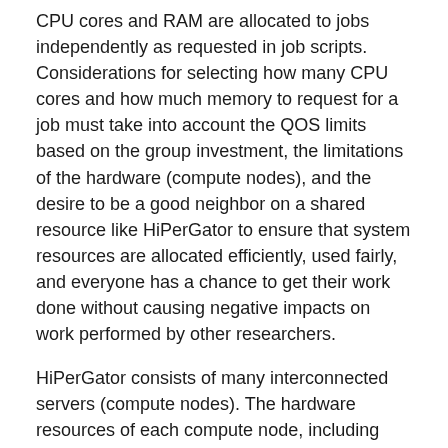CPU cores and RAM are allocated to jobs independently as requested in job scripts. Considerations for selecting how many CPU cores and how much memory to request for a job must take into account the QOS limits based on the group investment, the limitations of the hardware (compute nodes), and the desire to be a good neighbor on a shared resource like HiPerGator to ensure that system resources are allocated efficiently, used fairly, and everyone has a chance to get their work done without causing negative impacts on work performed by other researchers.
HiPerGator consists of many interconnected servers (compute nodes). The hardware resources of each compute node, including CPU cores, memory, memory bandwidth, network bandwidth, and local storage are limited. If any single one of the above resources is fully consumed the remaining unused resources can become effectively wasted, which makes it progressively harder or even impossible to achieve the shared goals of Research Computing and the UF Researcher Community stated above. See the Available Node Features for details on the hardware on compute nodes. Nodes with similar hardware are generally separated into